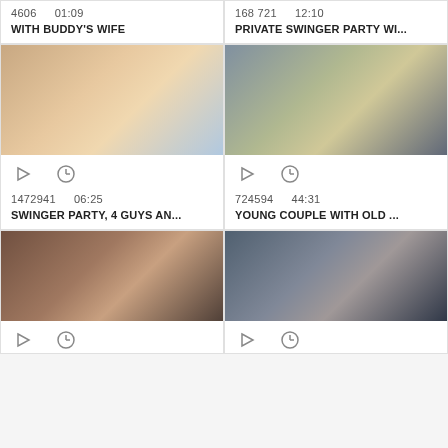4606   01:09
WITH BUDDY'S WIFE
[Figure (photo): Video thumbnail showing people in a room]
1472941   06:25
SWINGER PARTY, 4 GUYS AN...
168721   12:10
PRIVATE SWINGER PARTY WI...
[Figure (photo): Video thumbnail showing people on a couch]
724594   44:31
YOUNG COUPLE WITH OLD ...
[Figure (photo): Video thumbnail]
[Figure (photo): Video thumbnail]